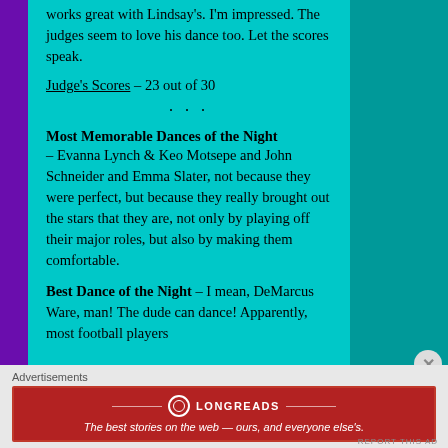works great with Lindsay's. I'm impressed. The judges seem to love his dance too. Let the scores speak.
Judge's Scores – 23 out of 30
· · ·
Most Memorable Dances of the Night
– Evanna Lynch & Keo Motsepe and John Schneider and Emma Slater, not because they were perfect, but because they really brought out the stars that they are, not only by playing off their major roles, but also by making them comfortable.
Best Dance of the Night – I mean, DeMarcus Ware, man! The dude can dance! Apparently, most football players
Advertisements
[Figure (other): Longreads advertisement banner: red background with Longreads logo and text 'The best stories on the web — ours, and everyone else's.']